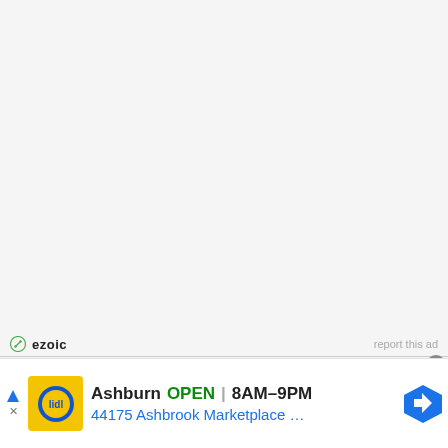[Figure (other): Ezoic ad placeholder area - large white/light gray empty rectangle with ezoic logo and 'report this ad' link at bottom]
[Figure (other): Google/Lidl advertisement banner showing Ashburn store location with OPEN status, hours 8AM-9PM, address 44175 Ashbrook Marketplace, with Lidl logo and map direction icon]